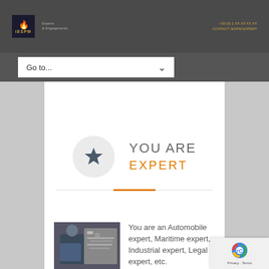[Figure (logo): IESPM logo with flame icon on dark background]
Go to...
YOU ARE
EXPERT
[Figure (photo): Mechanic in blue uniform inspecting engine]
You are an Automobile expert, Maritime expert, Industrial expert, Legal expert, etc.